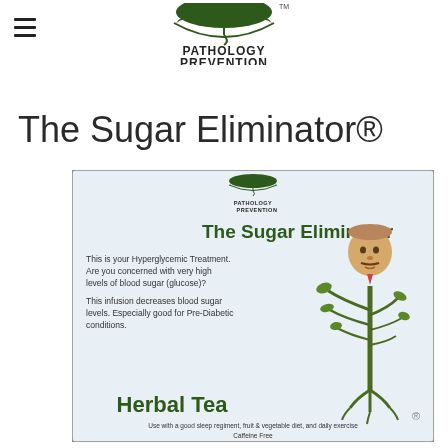Pathology Prevention (logo)
The Sugar Eliminator®
[Figure (illustration): Product label for 'The Sugar Eliminator®' herbal tea by Pathology Prevention. Features the brand logo, product name, description text about hyperglycemic treatment and blood sugar levels, a cartoon plant character with a human face, and the text 'Herbal Tea' and 'Use with a good sleep regiment, fruit & vegetable diet, and daily exercise. Caffeine Free'.]